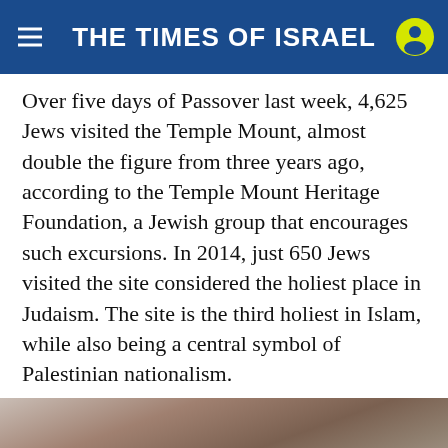THE TIMES OF ISRAEL
Over five days of Passover last week, 4,625 Jews visited the Temple Mount, almost double the figure from three years ago, according to the Temple Mount Heritage Foundation, a Jewish group that encourages such excursions. In 2014, just 650 Jews visited the site considered the holiest place in Judaism. The site is the third holiest in Islam, while also being a central symbol of Palestinian nationalism.
[Figure (photo): Close-up photograph of a person wearing goggles or protective eyewear, partially cropped, with stone or concrete wall in background]
Back To School Shopping Deals Leesburg Premium Outlets